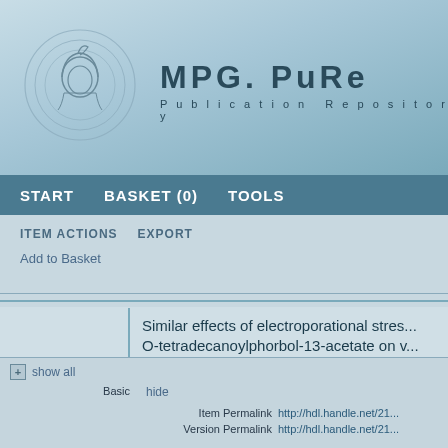[Figure (logo): MPG.PuRe Publication Repository logo with Minerva head in concentric circles]
MPG. PuRe
Publication Repository
START   BASKET (0)   TOOLS
ITEM ACTIONS   EXPORT
Add to Basket
Similar effects of electroporational stress and the phorbol ester 12-O-tetradecanoylphorbol-13-acetate on vimentin and plasmacytoma cells
Rauscher, A., Giese, G., Nickel, J., & Traub, P. (2000). Similar effects of electroporational stress and the phorbol ester 12-O-tetradecanoylphorbol-13-acetate on vi... Biochimica et Biophysica Acta: BBA, 1493(1-2), 170-179. doi:10.1016/S...
+ show all
Basic
hide
Item Permalink
http://hdl.handle.net/21...
Version Permalink
http://hdl.handle.net/21...